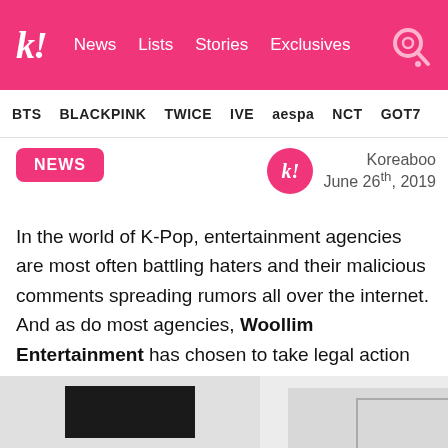k! News Lists Stories Exclusives
BTS BLACKPINK TWICE IVE aespa NCT GOT7
NEWS
Koreaboo
June 26th, 2019
In the world of K-Pop, entertainment agencies are most often battling haters and their malicious comments spreading rumors all over the internet. And as do most agencies, Woollim Entertainment has chosen to take legal action against such “malicious commenters” for defaming its managing artists like INFINITE, Lovelyz, and Golden Child.
[Figure (photo): Bottom portion of an image, partially visible, showing what appears to be a document or device on a surface.]